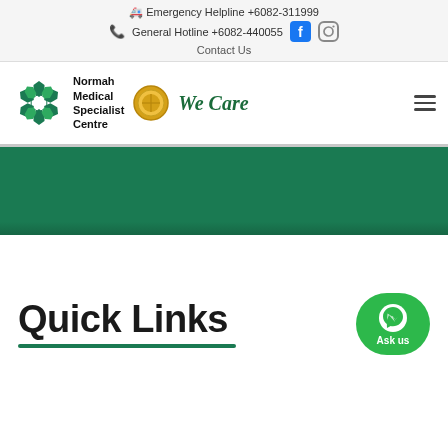Emergency Helpline +6082-311999
General Hotline +6082-440055
Contact Us
[Figure (logo): Normah Medical Specialist Centre logo with green flower/hexagon pattern, gold medal, and 'We Care' cursive text]
[Figure (photo): Dark green banner/hero image area]
Quick Links